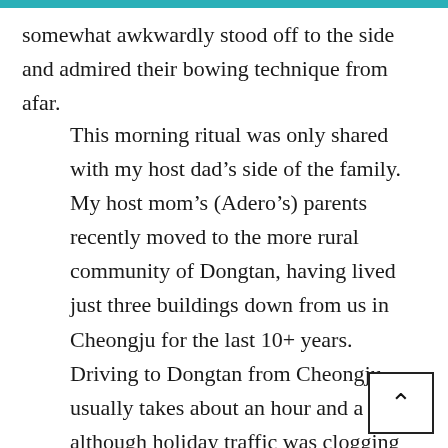somewhat awkwardly stood off to the side and admired their bowing technique from afar.
This morning ritual was only shared with my host dad's side of the family.  My host mom's (Adero's) parents recently moved to the more rural community of Dongtan, having lived just three buildings down from us in Cheongju for the last 10+ years.  Driving to Dongtan from Cheongju usually takes about an hour and a half, although holiday traffic was clogging the highways more than I had seen previously.  It was very sweet of the family to include me in their and although two of my host siblings did not come